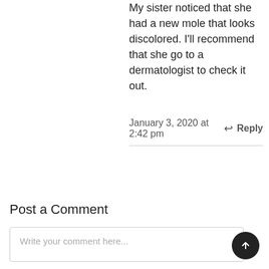My sister noticed that she had a new mole that looks discolored. I'll recommend that she go to a dermatologist to check it out.
January 3, 2020 at 2:42 pm  Reply
Post a Comment
Write your comment here...